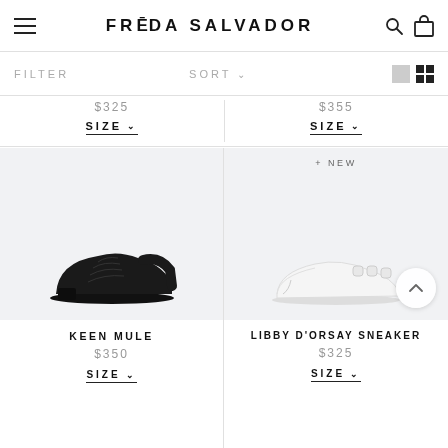FRĒDA SALVADOR
FILTER
SORT
$325
SIZE
$355
SIZE
[Figure (photo): Black woven leather mule shoe on light gray background]
KEEN MULE
$350
SIZE
[Figure (photo): White d'orsay sneaker with white buckle detail on light gray background, with + NEW badge and scroll-up button]
LIBBY D'ORSAY SNEAKER
$325
SIZE